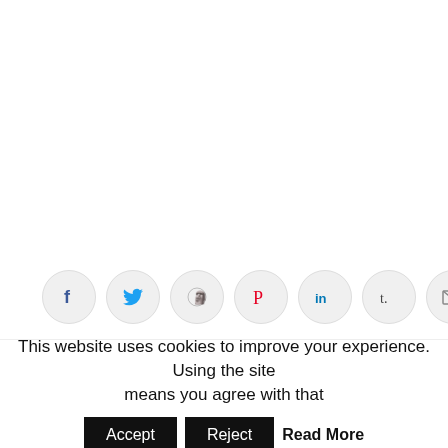[Figure (infographic): Row of social sharing icon circles: Facebook (f), Twitter (bird), Reddit (alien), Pinterest (P), LinkedIn (in), Tumblr (t.), Email (envelope)]
charity, donating, donation, plush animals, Plush toys, soft toys, Stuffed animals, Stuffed toys, teddy bear toss, teddy bears
Previous Post    Next Post
This website uses cookies to improve your experience. Using the site means you agree with that  Accept  Reject  Read More